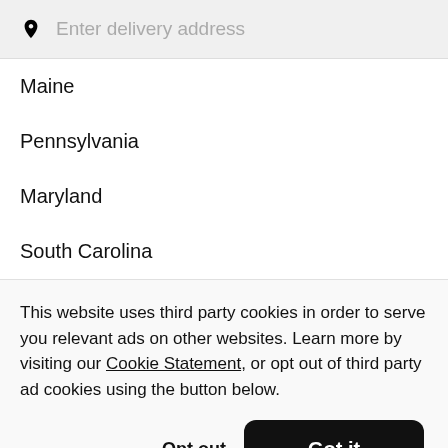[Figure (screenshot): Search bar with location pin icon and placeholder text 'Enter delivery address']
Maine
Pennsylvania
Maryland
South Carolina
This website uses third party cookies in order to serve you relevant ads on other websites. Learn more by visiting our Cookie Statement, or opt out of third party ad cookies using the button below.